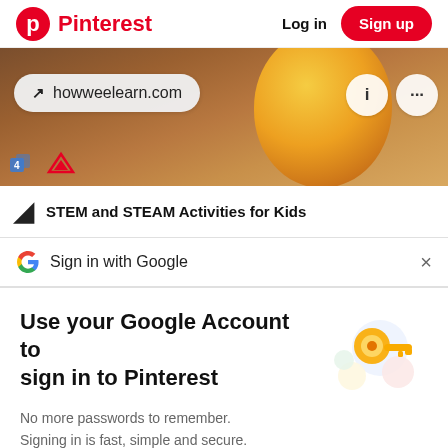Pinterest  Log in  Sign up
[Figure (screenshot): Pinterest pin image showing a fruit (peach/apple) on a wooden surface, with a URL bar overlay showing 'howweelearn.com', info (i) and more (...) action buttons, and small logo icons in the bottom left corner.]
STEM and STEAM Activities for Kids
Sign in with Google
Use your Google Account to sign in to Pinterest
No more passwords to remember. Signing in is fast, simple and secure.
[Figure (illustration): Google sign-in illustration showing a golden key with colorful circular icons around it (blue, yellow, green, red/pink), representing Google account authentication.]
Continue